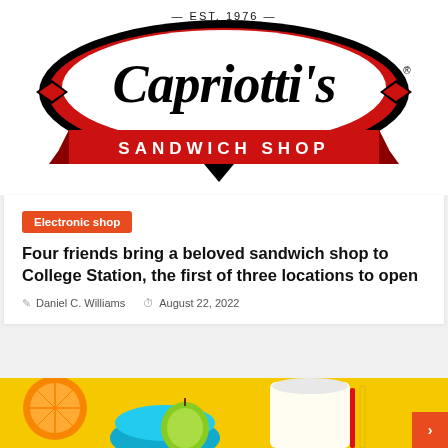[Figure (logo): Capriotti's Sandwich Shop logo — Est. 1976, red oval with black script lettering and red banner with white text SANDWICH SHOP]
Electronic shop
Four friends bring a beloved sandwich shop to College Station, the first of three locations to open
Daniel C. Williams   August 22, 2022
[Figure (photo): Colorful food/drink flat-lay with green apple, orange slice, glass of milk, blue bowl, yellow background, red straw and pencil]